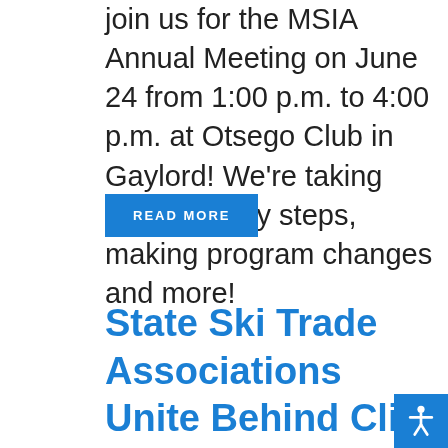join us for the MSIA Annual Meeting on June 24 from 1:00 p.m. to 4:00 p.m. at Otsego Club in Gaylord! We're taking sustainability steps, making program changes and more!
READ MORE
State Ski Trade Associations Unite Behind Cli...